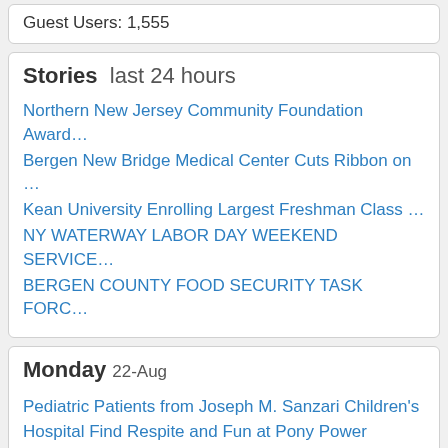Guest Users: 1,555
Stories  last 24 hours
Northern New Jersey Community Foundation Award...
Bergen New Bridge Medical Center Cuts Ribbon on ...
Kean University Enrolling Largest Freshman Class ...
NY WATERWAY LABOR DAY WEEKEND SERVICE...
BERGEN COUNTY FOOD SECURITY TASK FORC...
Monday 22-Aug
Pediatric Patients from Joseph M. Sanzari Children's Hospital Find Respite and Fun at Pony Power Therapies (0)
CIRCUS VAZQUEZ, ONE OF AMERICA'S LONGEST-RUNNING CIRCUSES, BRINGS ITS ALL-NEW, HIGH-ENERGY 2022 BIG TOP SHOW TO FIVE